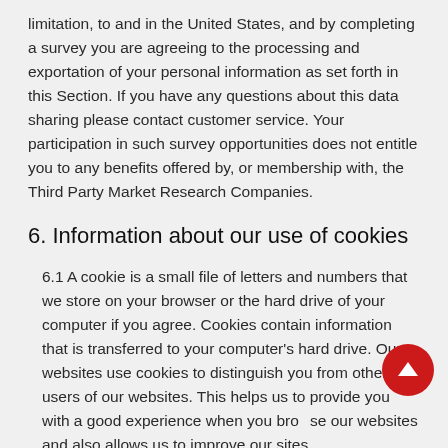limitation, to and in the United States, and by completing a survey you are agreeing to the processing and exportation of your personal information as set forth in this Section. If you have any questions about this data sharing please contact customer service. Your participation in such survey opportunities does not entitle you to any benefits offered by, or membership with, the Third Party Market Research Companies.
6. Information about our use of cookies
6.1 A cookie is a small file of letters and numbers that we store on your browser or the hard drive of your computer if you agree. Cookies contain information that is transferred to your computer's hard drive. Our websites use cookies to distinguish you from other users of our websites. This helps us to provide you with a good experience when you browse our websites and also allows us to improve our sites.
6.2 Before cookies are placed on your computer or device, you will be shown a pop-up requesting your consent to set